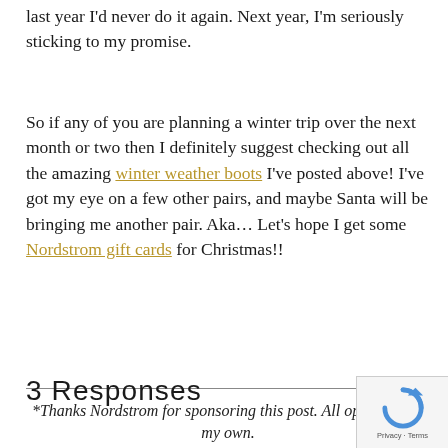last year I'd never do it again. Next year, I'm seriously sticking to my promise.
So if any of you are planning a winter trip over the next month or two then I definitely suggest checking out all the amazing winter weather boots I've posted above! I've got my eye on a few other pairs, and maybe Santa will be bringing me another pair. Aka… Let's hope I get some Nordstrom gift cards for Christmas!!
*Thanks Nordstrom for sponsoring this post. All opinions are my own.
3 Responses
[Figure (other): reCAPTCHA badge with Privacy and Terms links]